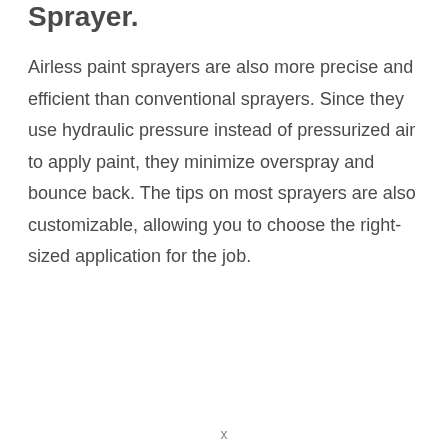Sprayer.
Airless paint sprayers are also more precise and efficient than conventional sprayers. Since they use hydraulic pressure instead of pressurized air to apply paint, they minimize overspray and bounce back. The tips on most sprayers are also customizable, allowing you to choose the right-sized application for the job.
x